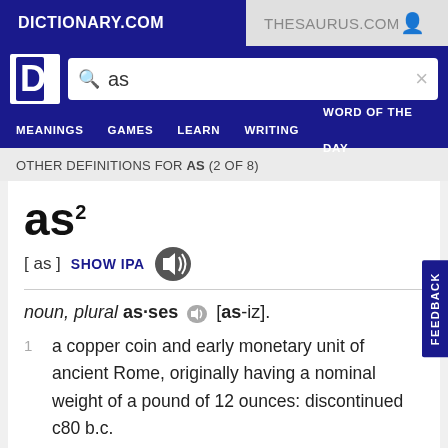DICTIONARY.COM | THESAURUS.COM
as²
[ as ]  SHOW IPA
noun, plural as·ses [as-iz].
1  a copper coin and early monetary unit of ancient Rome, originally having a nominal weight of a pound of 12 ounces: discontinued c80 b.c.